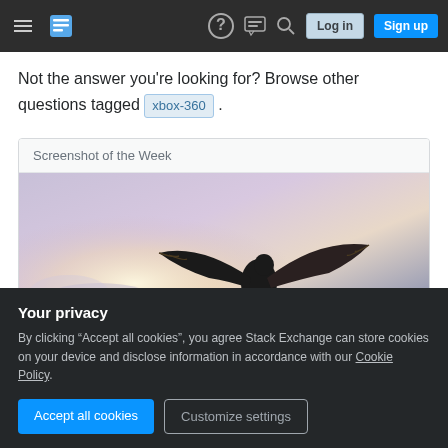Navigation bar with hamburger menu, Stack Exchange logo, help icon, chat icon, search icon, Log in button, Sign up button
Not the answer you're looking for? Browse other questions tagged xbox-360 .
Screenshot of the Week
[Figure (photo): A bird with wings spread wide silhouetted against a bright sky with purple and blue hues, sunlight in the background.]
Your privacy
By clicking "Accept all cookies", you agree Stack Exchange can store cookies on your device and disclose information in accordance with our Cookie Policy.
Accept all cookies   Customize settings